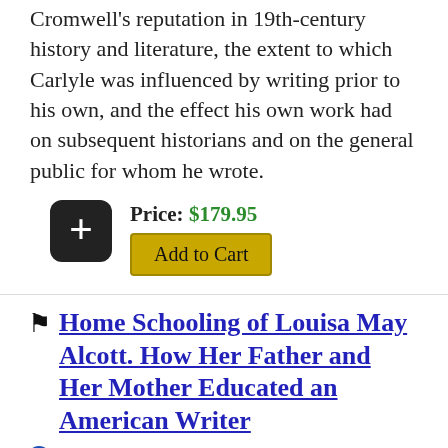Cromwell's reputation in 19th-century history and literature, the extent to which Carlyle was influenced by writing prior to his own, and the effect his own work had on subsequent historians and on the general public for whom he wrote.
Price: $179.95
Add to Cart
Home Schooling of Louisa May Alcott. How Her Father and Her Mother Educated an American Writer
Stepanski, Lisa M.
2011 ▲ 0-7734-1485-1 ▲ 180 pages
The rapid industrialization of New England in the mid-nineteenth century gave rise to